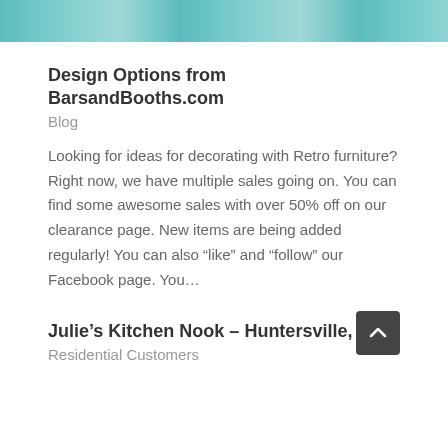[Figure (photo): Top portion of a photo showing retro furniture — teal/turquoise chairs visible against a light background]
Design Options from BarsandBooths.com
Blog
Looking for ideas for decorating with Retro furniture? Right now, we have multiple sales going on. You can find some awesome sales with over 50% off on our clearance page. New items are being added regularly! You can also “like” and “follow” our Facebook page. You…
Julie’s Kitchen Nook – Huntersville, NC
Residential Customers